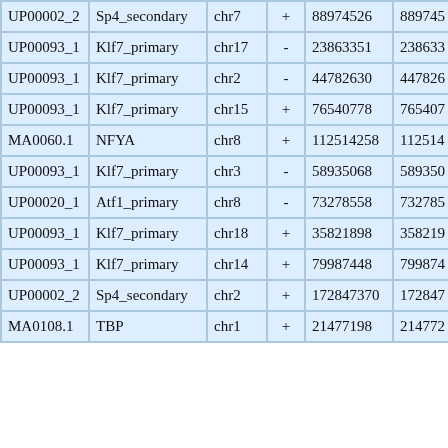| UP00002_2 | Sp4_secondary | chr7 | + | 88974526 | 889745 |
| UP00093_1 | Klf7_primary | chr17 | - | 23863351 | 238633 |
| UP00093_1 | Klf7_primary | chr2 | - | 44782630 | 447826 |
| UP00093_1 | Klf7_primary | chr15 | + | 76540778 | 765407 |
| MA0060.1 | NFYA | chr8 | + | 112514258 | 112514 |
| UP00093_1 | Klf7_primary | chr3 | - | 58935068 | 589350 |
| UP00020_1 | Atf1_primary | chr8 | - | 73278558 | 732785 |
| UP00093_1 | Klf7_primary | chr18 | + | 35821898 | 358219 |
| UP00093_1 | Klf7_primary | chr14 | + | 79987448 | 799874 |
| UP00002_2 | Sp4_secondary | chr2 | + | 172847370 | 172847 |
| MA0108.1 | TBP | chr1 | + | 21477198 | 214772 |